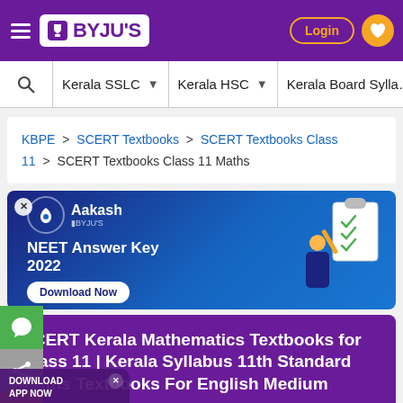BYJU'S — Login (header navigation bar)
Kerala SSLC ▾  Kerala HSC ▾  Kerala Board Sylla...
KBPE > SCERT Textbooks > SCERT Textbooks Class 11 > SCERT Textbooks Class 11 Maths
[Figure (screenshot): NEET Answer Key 2022 advertisement banner by Aakash BYJU'S with Download Now button and illustration of student with clipboard]
SCERT Kerala Mathematics Textbooks for Class 11 | Kerala Syllabus 11th Standard Maths Textbooks For English Medium